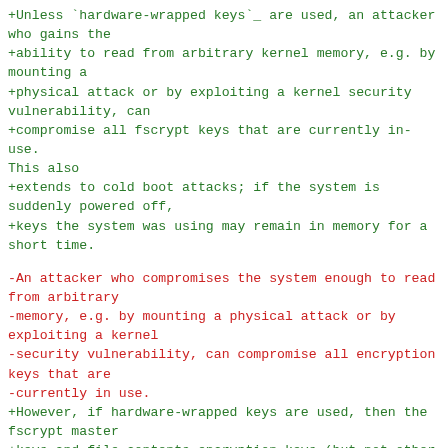+Unless `hardware-wrapped keys`_ are used, an attacker who gains the
+ability to read from arbitrary kernel memory, e.g. by mounting a
+physical attack or by exploiting a kernel security vulnerability, can
+compromise all fscrypt keys that are currently in-use. This also
+extends to cold boot attacks; if the system is suddenly powered off,
+keys the system was using may remain in memory for a short time.
-An attacker who compromises the system enough to read from arbitrary
-memory, e.g. by mounting a physical attack or by exploiting a kernel
-security vulnerability, can compromise all encryption keys that are
-currently in use.
+However, if hardware-wrapped keys are used, then the fscrypt master
+keys and file contents encryption keys (but not other types of fscrypt
+subkeys such as filenames encryption keys) are protected from
+compromises of arbitrary kernel memory.
-However, fscrypt allows encryption keys to be removed from the kernel